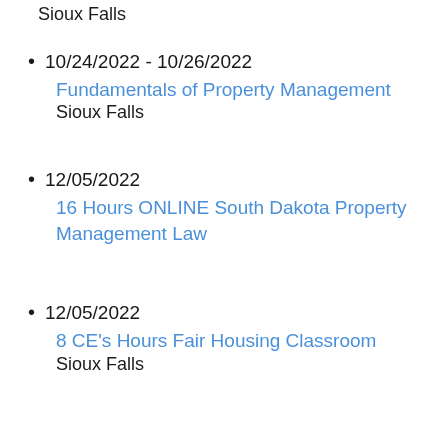Sioux Falls
10/24/2022 - 10/26/2022
Fundamentals of Property Management
Sioux Falls
12/05/2022
16 Hours ONLINE South Dakota Property Management Law
12/05/2022
8 CE's Hours Fair Housing Classroom
Sioux Falls